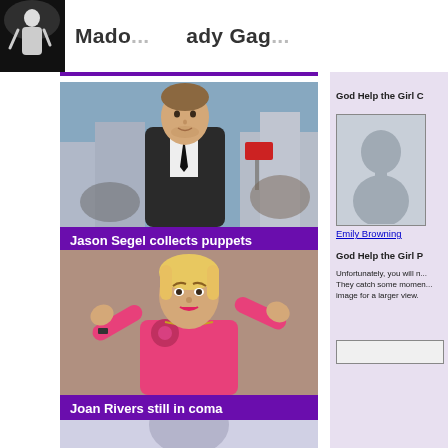Mado... ady Gag...
[Figure (photo): Jason Segel photo outdoors in suit]
Jason Segel collects puppets
[Figure (photo): Joan Rivers in pink jacket with hands raised]
Joan Rivers still in coma
[Figure (photo): Person silhouette placeholder at bottom]
God Help the Girl C
[Figure (photo): Emily Browning cast photo placeholder silhouette]
Emily Browning
God Help the Girl P
Unfortunately, you will n... They catch some momen... image for a larger view.
[Figure (photo): Bottom right bordered box placeholder]